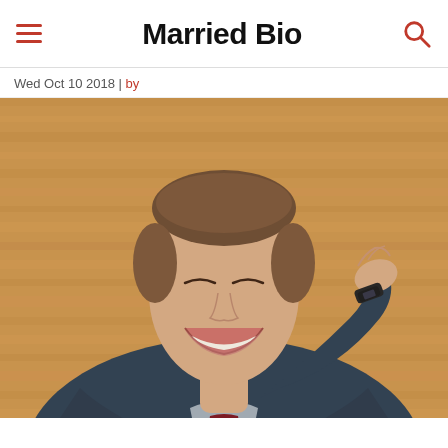Married Bio
Wed Oct 10 2018 | by
[Figure (photo): A smiling man in a dark blazer and striped burgundy tie, hand raised to his chin, posing thoughtfully against a warm golden-brown wood-panel background.]